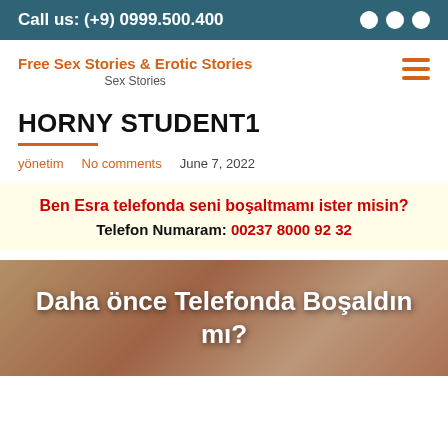Call us: (+9) 0999.500.400
Free Sex Stories & Erotic Stories
Sex Stories
HORNY STUDENT1
yönetim   No comments   June 7, 2022
Ben Esra telefonda seni boşaltmamı ister misin?
Telefon Numaram: 00237 8000 92 32
[Figure (photo): Image with text overlay reading 'Daha önce Telefonda Boşaldın mı?']